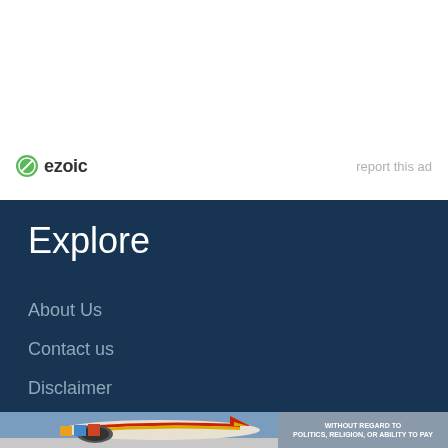[Figure (logo): Ezoic logo with green circle icon and bold text 'ezoic']
report this ad
Explore
About Us
Contact us
Disclaimer
[Figure (photo): Bottom advertisement showing cargo aircraft being loaded on tarmac, with text overlay 'WITHOUT REGARD TO POLITICS, RELIGION, OR ABILITY TO PAY']